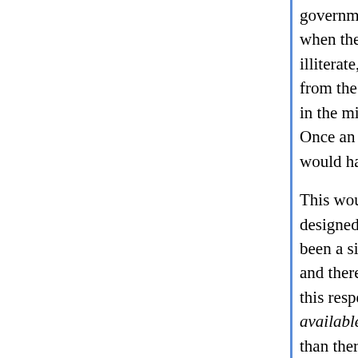government study designed to see what happened when they were not treated. The men enlisted in the study were illiterate, sharecroppers in Alabama. There were ethical problems from the start, but the really appalling part came with penicillin in the mid-1940s (before then, there were no real treatments). Once an effective treatment for syphilis became available, the thing would have been to halt the study and provide penicillin.
This wouldn't have been much of a loss to science; the study was badly designed, and pretty pointless once a treatment had been found. There had been a similar study on whites, carried out when no treatment existed, and there was no good reason to think blacks differed from whites in this respect. More to the point, letting syphilis go untreated when a cure is available is just plain wrong, and even if there had been more to lose than there was, that wouldn't have made it OK.
But our government didn't just not treat the men's syphilis; it actively prevented the men in the study from getting treatment elsewhere. The researchers let these men sicken and die for twenty-five years after an inexpensive and very effective treatment became available. They let the men's wives become infected, and their children born with the disease.
Results from this study were being published throughout. It wasn't a big secret. And, as I said, it was only ended, after forty years after it started, and twenty five years...